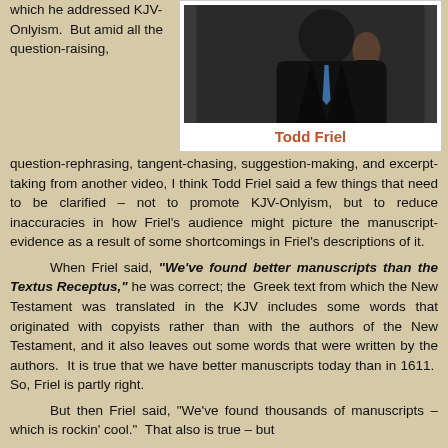which he addressed KJV-Onlyism.  But amid all the question-raising,
[Figure (photo): Photo of Todd Friel, a man in a dark suit with a blue tie, gesturing with his hand raised.]
Todd Friel
question-rephrasing, tangent-chasing, suggestion-making, and excerpt-taking from another video, I think Todd Friel said a few things that need to be clarified – not to promote KJV-Onlyism, but to reduce inaccuracies in how Friel's audience might picture the manuscript-evidence as a result of some shortcomings in Friel's descriptions of it.
When Friel said, “We’ve found better manuscripts than the Textus Receptus,” he was correct; the Greek text from which the New Testament was translated in the KJV includes some words that originated with copyists rather than with the authors of the New Testament, and it also leaves out some words that were written by the authors.  It is true that we have better manuscripts today than in 1611.  So, Friel is partly right.
But then Friel said, “We’ve found thousands of manuscripts – which is rockin’ cool.”  That also is true – but